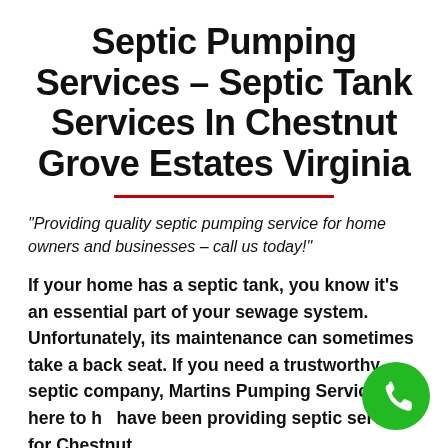Septic Pumping Services – Septic Tank Services In Chestnut Grove Estates Virginia
“Providing quality septic pumping service for home owners and businesses – call us today!”
If your home has a septic tank, you know it’s an essential part of your sewage system. Unfortunately, its maintenance can sometimes take a back seat. If you need a trustworthy septic company, Martins Pumping Service is here to he… have been providing septic services for Chestnut
[Figure (other): Green circular phone call button icon in the bottom right corner]